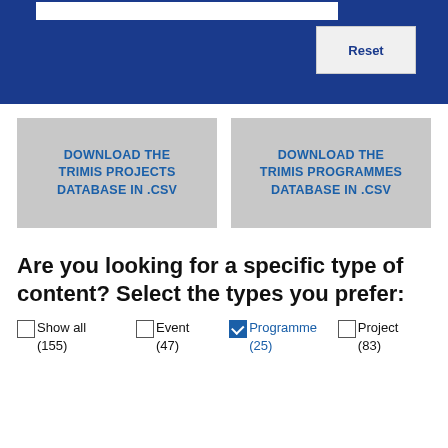[Figure (screenshot): Blue header bar with white input box and a Reset button]
DOWNLOAD THE TRIMIS PROJECTS DATABASE IN .CSV
DOWNLOAD THE TRIMIS PROGRAMMES DATABASE IN .CSV
Are you looking for a specific type of content? Select the types you prefer:
Show all (155)
Event (47)
Programme (25)
Project (83)